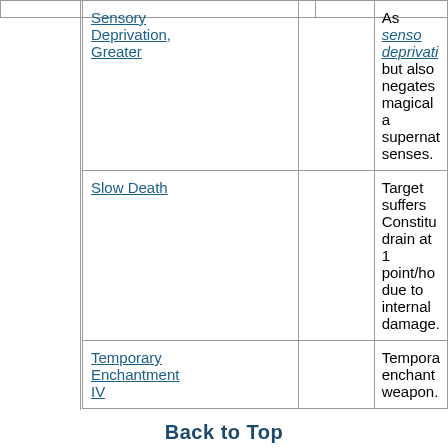| Name |  | Description |
| --- | --- | --- |
| Sensory Deprivation, Greater |  | As sensory deprivation, but also negates magical and supernatural senses. |
| Slow Death |  | Target suffers Constitution drain at 1 point/hour due to internal damage. |
| Temporary Enchantment IV |  | Temporarily enchants a weapon. |
Back to Top